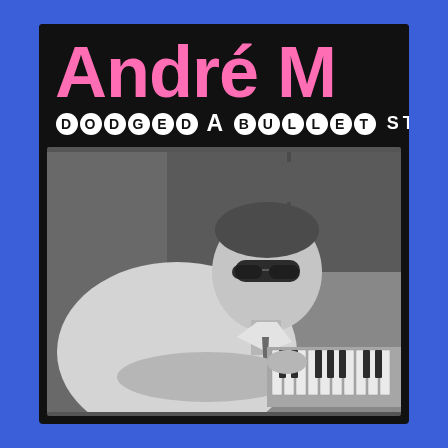[Figure (illustration): Album cover for André M 'Dodged a Bullet' - STEREO. Black background with large pink serif artist name 'André M', subtitle 'DODGED A BULLET' in white circled letters, 'STEREO' label at right, and a black-and-white photo of a man wearing sunglasses leaning over a keyboard/organ instrument. The outer background is bright royal blue.]